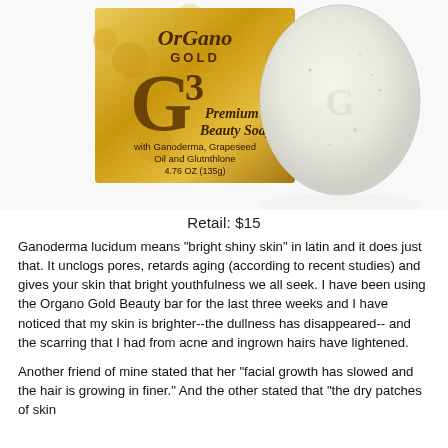[Figure (photo): OrGano Gold G3 Premium Beauty Soap product photo showing the gold box packaging and translucent oval soap bar]
Retail: $15
Ganoderma lucidum means "bright shiny skin" in latin and it does just that. It unclogs pores, retards aging (according to recent studies) and gives your skin that bright youthfulness we all seek. I have been using the Organo Gold Beauty bar for the last three weeks and I have noticed that my skin is brighter--the dullness has disappeared-- and the scarring that I had from acne and ingrown hairs have lightened.
Another friend of mine stated that her "facial growth has slowed and the hair is growing in finer." And the other stated that "the dry patches of skin